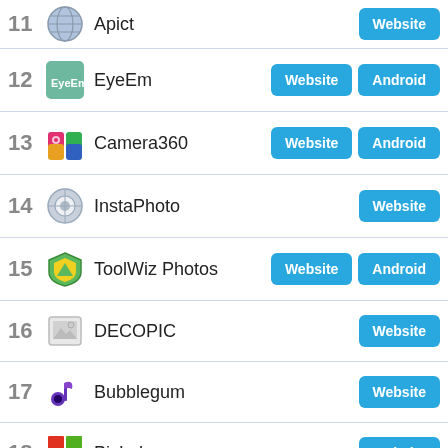11 Apict Website
12 EyeEm Website Android
13 Camera360 Website Android
14 InstaPhoto Website
15 ToolWiz Photos Website Android
16 DECOPIC Website
17 Bubblegum Website
18 PicLabs Website